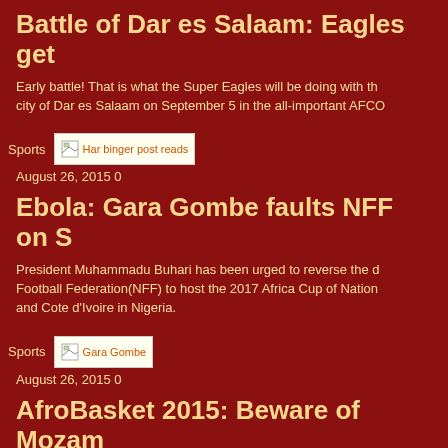Battle of Dar es Salaam: Eagles get
Early battle! That is what the Super Eagles will be doing with the city of Dar es Salaam on September 5 in the all-important AFCO
Sports  [image]  August 26, 2015 0
Ebola: Gara Gombe faults NFF on S
President Muhammadu Buhari has been urged to reverse the d Football Federation(NFF) to host the 2017 Africa Cup of Nation and Cote d'Ivoire in Nigeria.
Sports  [image]  August 26, 2015 0
AfroBasket 2015: Beware of Mozam warns D' Tigers
Former national team assistant coach, Andrew Isokpehi has wa be taken for granted by Nigeria if D' Tigers intend to progress to going AfroBasket 2015 in Tunisia.